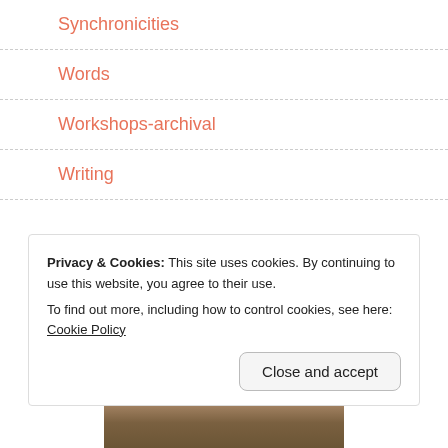Synchronicities
Words
Workshops-archival
Writing
00001280
Privacy & Cookies: This site uses cookies. By continuing to use this website, you agree to their use.
To find out more, including how to control cookies, see here: Cookie Policy
Close and accept